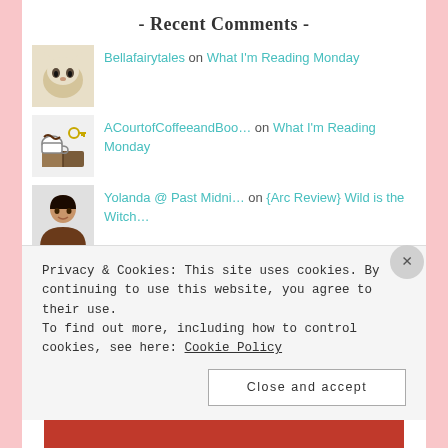- Recent Comments -
Bellafairytales on What I'm Reading Monday
ACourtofCoffeeandBoo… on What I'm Reading Monday
Yolanda @ Past Midni… on {Arc Review} Wild is the Witch…
Bellafairytales on What I'm Reading Monday
yee_bookish on What I'm Reading Monday
Privacy & Cookies: This site uses cookies. By continuing to use this website, you agree to their use. To find out more, including how to control cookies, see here: Cookie Policy
Close and accept